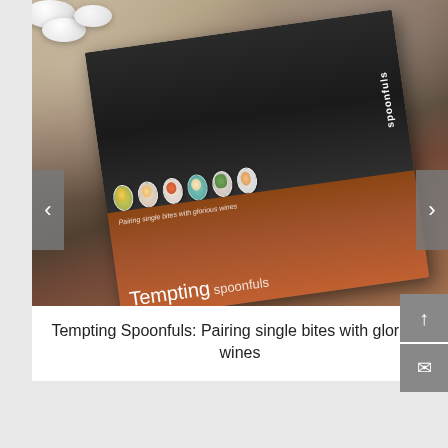[Figure (photo): A book titled 'Tempting Spoonfuls: Pairing single bites with glorious wines' photographed on a granite/stone surface with white bowls and food items visible around it. The book cover shows colorful food items in small spoons/bowls and has a dark top portion and a brown/wood-toned bottom section.]
Tempting Spoonfuls: Pairing single bites with glorious wines